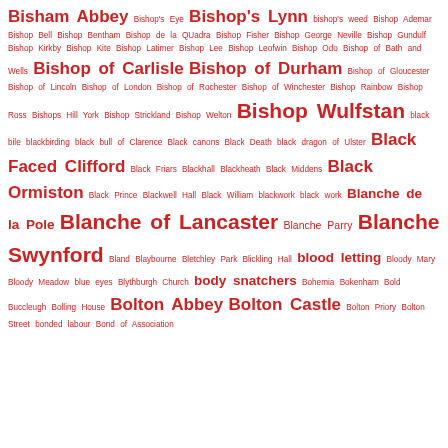Bisham Abbey  Bishop's Eye  Bishop's Lynn  bishop's weed  Bishop Ademar  Bishop Bell  Bishop Bentham  Bishop de la QUadra  Bishop Fisher  Bishop George Neville  Bishop Gundulf  Bishop Kirkby  Bishop Kite  Bishop Latimer  Bishop Lee  Bishop Leofwin  Bishop Odo  Bishop of Bath and Wells  Bishop of Carlisle  Bishop of Durham  Bishop of Gloucester  Bishop of Lincoln  Bishop of London  Bishop of Rochester  Bishop of Winchester  Bishop Rainbow  Bishop Ross  Bishops Hill York  Bishop Strickland  Bishop Welton  Bishop Wulfstan  black bile  blackbirding  black bull of Clarence  Black canons  Black Death  black dragon of Ulster  Black Faced Clifford  Black Friars  Blackhall  Blackheath  Black Middens  Black Ormiston  Black Prince  Blackwell Hall  Black William  blackwork  black work  Blanche de la Pole  Blanche of Lancaster  Blanche Parry  Blanche Swynford  Bland  Blaybourne  Bletchley Park  Blickling Hall  blood letting  Bloody Mary  Bloody Meadow  blue eyes  Blythburgh Church  body snatchers  Bohemia  Bokenham  Bold  Buccleugh  Bolling House  Bolton Abbey  Bolton Castle  Bolton Priory  Bolton Street  bonded labour  Bond of Association